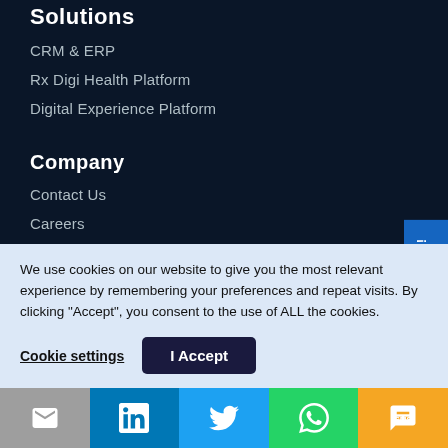Solutions
CRM & ERP
Rx Digi Health Platform
Digital Experience Platform
Company
Contact Us
Careers
Say Hello!
We use cookies on our website to give you the most relevant experience by remembering your preferences and repeat visits. By clicking “Accept”, you consent to the use of ALL the cookies.
Cookie settings | I Accept